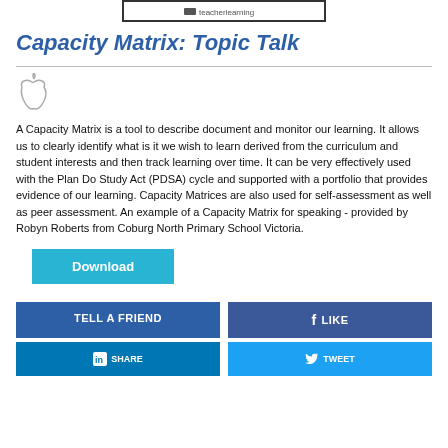[Figure (logo): Small logo or banner at top of page]
Capacity Matrix: Topic Talk
[Figure (illustration): Apple icon in light gray outline style]
A Capacity Matrix is a tool to describe document and monitor our learning. It allows us to clearly identify what is it we wish to learn derived from the curriculum and student interests and then track learning over time. It can be very effectively used with the Plan Do Study Act (PDSA) cycle and supported with a portfolio that provides evidence of our learning. Capacity Matrices are also used for self-assessment as well as peer assessment. An example of a Capacity Matrix for speaking - provided by Robyn Roberts from Coburg North Primary School Victoria.
Download
TELL A FRIEND
f LIKE